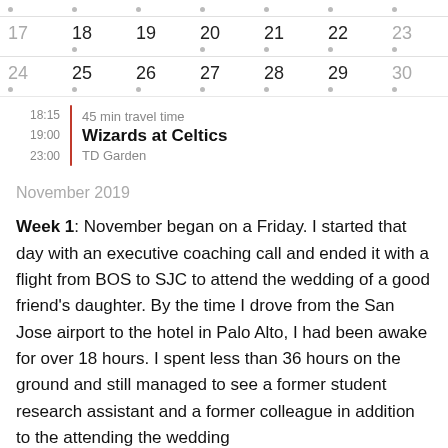| 17 | 18 | 19 | 20 | 21 | 22 | 23 |
| 24 | 25 | 26 | 27 | 28 | 29 | 30 |
18:15  45 min travel time
19:00  Wizards at Celtics
23:00  TD Garden
November 2019
Week 1: November began on a Friday. I started that day with an executive coaching call and ended it with a flight from BOS to SJC to attend the wedding of a good friend's daughter. By the time I drove from the San Jose airport to the hotel in Palo Alto, I had been awake for over 18 hours. I spent less than 36 hours on the ground and still managed to see a former student research assistant and a former colleague in addition to the attending the wedding